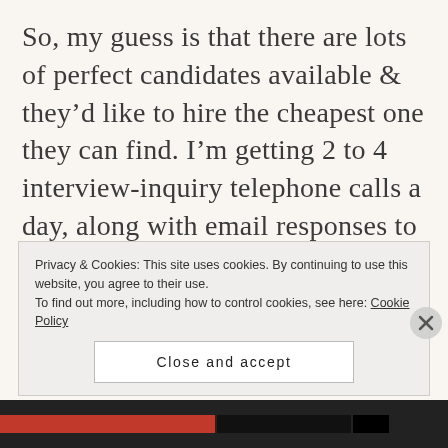So, my guess is that there are lots of perfect candidates available & they'd like to hire the cheapest one they can find. I'm getting 2 to 4 interview-inquiry telephone calls a day, along with email responses to my posted resume, networking & applying to several new openings every day, including weekends. But when qualified, the offers are unrealistic & would cost me to build & contribute to the success of their business. Companies want to
Privacy & Cookies: This site uses cookies. By continuing to use this website, you agree to their use.
To find out more, including how to control cookies, see here: Cookie Policy
Close and accept